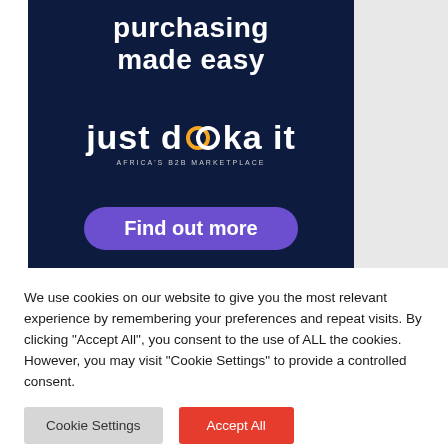[Figure (illustration): Dark navy blue advertisement banner for 'just dooka it - Africa's B2B Marketplace' showing the text 'purchasing made easy', the brand logo with an orange/yellow double-ring icon, and a purple 'Find out more' button.]
We use cookies on our website to give you the most relevant experience by remembering your preferences and repeat visits. By clicking "Accept All", you consent to the use of ALL the cookies. However, you may visit "Cookie Settings" to provide a controlled consent.
Cookie Settings
Accept All